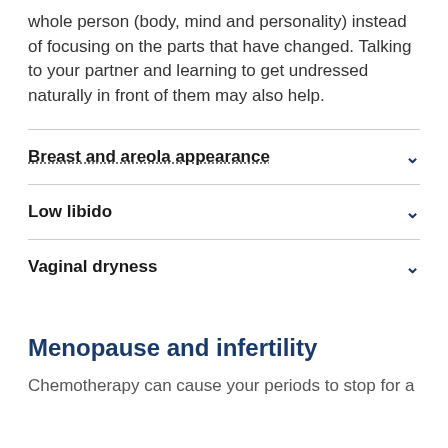whole person (body, mind and personality) instead of focusing on the parts that have changed. Talking to your partner and learning to get undressed naturally in front of them may also help.
Breast and areola appearance
Low libido
Vaginal dryness
Menopause and infertility
Chemotherapy can cause your periods to stop for a